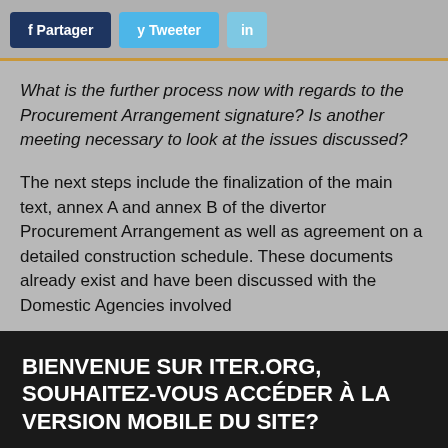f Partager   y Tweeter   in
What is the further process now with regards to the Procurement Arrangement signature? Is another meeting necessary to look at the issues discussed?
The next steps include the finalization of the main text, annex A and annex B of the divertor Procurement Arrangement as well as agreement on a detailed construction schedule. These documents already exist and have been discussed with the Domestic Agencies involved
BIENVENUE SUR ITER.ORG, SOUHAITEZ-VOUS ACCÉDER À LA VERSION MOBILE DU SITE?
□ Oui, Continuer sur le site mobile
□ Non, rester sur la version classique